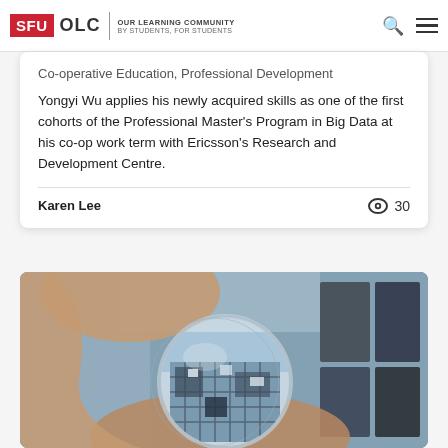SFU OLC | OUR LEARNING COMMUNITY BY STUDENTS, FOR STUDENTS
Co-operative Education, Professional Development
Yongyi Wu applies his newly acquired skills as one of the first cohorts of the Professional Master's Program in Big Data at his co-op work term with Ericsson's Research and Development Centre.
Karen Lee
30
[Figure (photo): A hand holding a crystal glass ball that reflects a modern building exterior with geometric architecture, set against a blurred background of screens/monitors.]